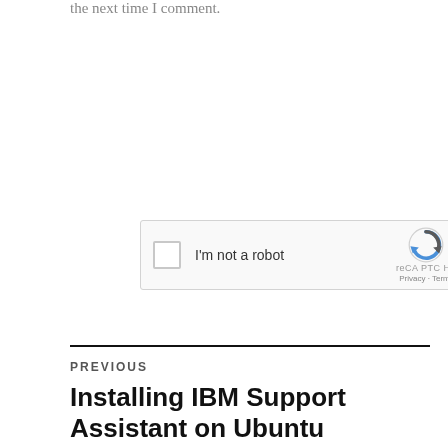the next time I comment.
[Figure (screenshot): reCAPTCHA widget with checkbox labeled 'I'm not a robot' and reCAPTCHA logo with Privacy and Terms links]
POST COMMENT
PREVIOUS
Installing IBM Support Assistant on Ubuntu
NEXT